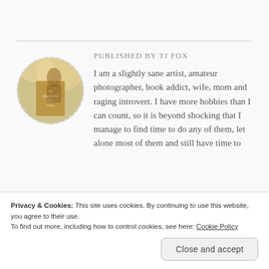[Figure (photo): Circular avatar image showing a book cover for 'An Unexpected Turn' with a soft bokeh background of warm colors]
Published by TJ Fox
I am a slightly sane artist, amateur photographer, book addict, wife, mom and raging introvert. I have more hobbies than I can count, so it is beyond shocking that I manage to find time to do any of them, let alone most of them and still have time to
Privacy & Cookies: This site uses cookies. By continuing to use this website, you agree to their use.
To find out more, including how to control cookies, see here: Cookie Policy
Close and accept